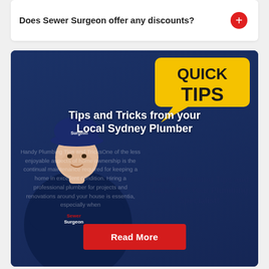Does Sewer Surgeon offer any discounts?
[Figure (photo): Promotional card for Sewer Surgeon featuring a plumber in a dark navy uniform and cap with arms crossed, a yellow speech bubble with 'QUICK TIPS', overlay text 'Tips and Tricks from your Local Sydney Plumber', body text about handy plumbing tips, a right-side panel reading 'Handy Plumbing Tips and Tricks From Your Plumbing Specialist!', and a red 'Read More' button.]
Tips and Tricks from your Local Sydney Plumber
Handy Plumbing Tips and TricksOne of the less enjoyable aspects of home ownership is the continual maintenance required for keeping a home in excellent condition. Hiring a professional plumber for projects and renovations around your house is essentia, especially when
Handy Plumbing Tips and Tricks From Your Plumbing Specialist!
Read More